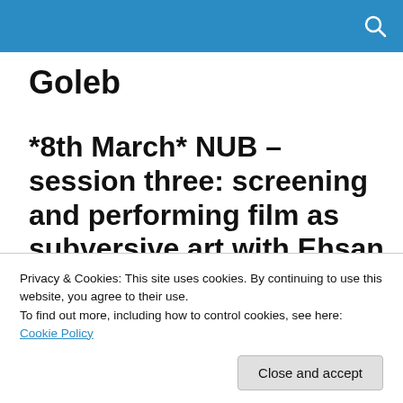Goleb [site header bar with search icon]
Goleb
*8th March* NUB – session three: screening and performing film as subversive art with Ehsan Fardjadniya and —
Privacy & Cookies: This site uses cookies. By continuing to use this website, you agree to their use.
To find out more, including how to control cookies, see here: Cookie Policy
Close and accept